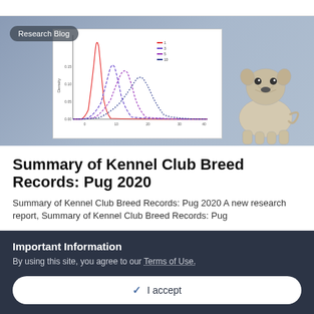[Figure (continuous-plot): Hero banner image with a continuous-plot chart showing overlapping density curves (red, blue, purple, dark blue) on a white background, and an illustration of a pug dog on the right side over a blue-grey gradient background.]
Summary of Kennel Club Breed Records: Pug 2020
Summary of Kennel Club Breed Records: Pug 2020 A new research report, Summary of Kennel Club Breed Records: Pug
Important Information
By using this site, you agree to our Terms of Use.
✓ I accept